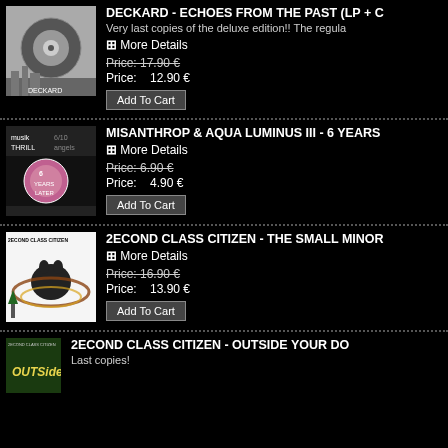[Figure (photo): Album cover for Deckard - Echoes From The Past, grayscale vinyl/spiral design]
DECKARD - ECHOES FROM THE PAST (LP + C
Very last copies of the deluxe edition!! The regula
+ More Details
Price: 17.90 €
Price: 12.90 €
Add To Cart
MISANTHROP & AQUA LUMINUS III - 6 YEARS
+ More Details
Price: 6.90 €
Price: 4.90 €
Add To Cart
2ECOND CLASS CITIZEN - THE SMALL MINOR
+ More Details
Price: 16.90 €
Price: 13.90 €
Add To Cart
2ECOND CLASS CITIZEN - OUTSIDE YOUR DO
Last copies!